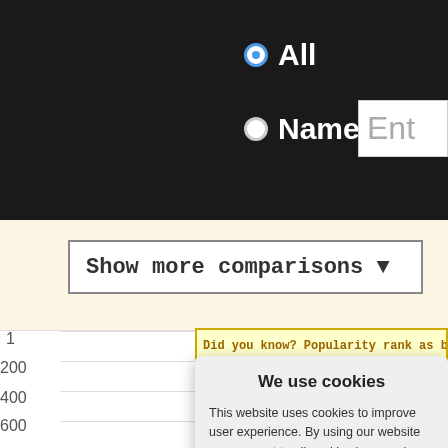[Figure (screenshot): Dark header area with radio buttons for 'All' and 'Name' options, and a text entry box partially visible on the right.]
Show more comparisons ▼
Did you know? Popularity rank as birth na
We use cookies
This website uses cookies to improve user experience. By using our website you consent to all cookies in accordance with our Cookie Policy.
Yes I agree
I disagree
Read more
Free cookie consent by cookie-script.com